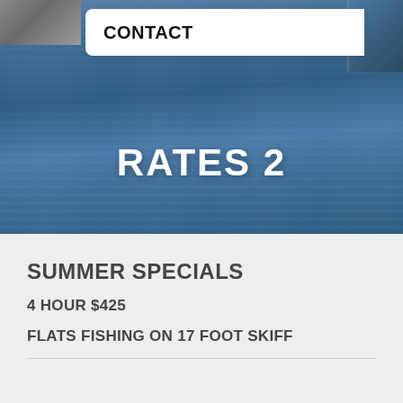[Figure (photo): Aerial or side view of open water (ocean or bay) with rippling blue waves. A boat is partially visible on the upper right, and rocks or a dock appear in the upper left corner.]
CONTACT
RATES 2
SUMMER SPECIALS
4 HOUR $425
FLATS FISHING ON 17 FOOT SKIFF